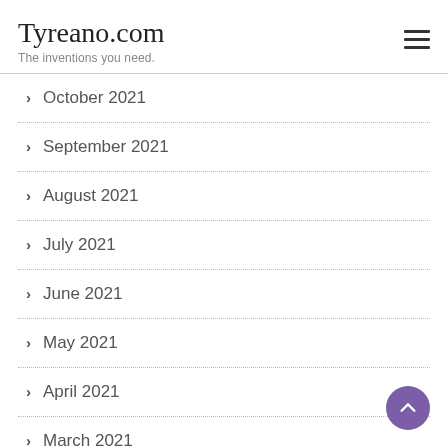Tyreano.com
The inventions you need.
October 2021
September 2021
August 2021
July 2021
June 2021
May 2021
April 2021
March 2021